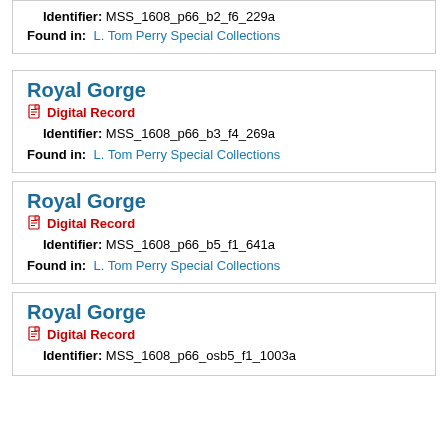Identifier: MSS_1608_p66_b2_f6_229a
Found in: L. Tom Perry Special Collections
Royal Gorge
Digital Record
Identifier: MSS_1608_p66_b3_f4_269a
Found in: L. Tom Perry Special Collections
Royal Gorge
Digital Record
Identifier: MSS_1608_p66_b5_f1_641a
Found in: L. Tom Perry Special Collections
Royal Gorge
Digital Record
Identifier: MSS_1608_p66_osb5_f1_1003a